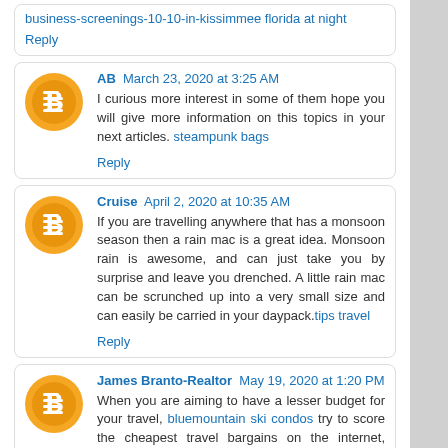business-screenings-10-10-in-kissimmee florida at night
Reply
AB  March 23, 2020 at 3:25 AM
I curious more interest in some of them hope you will give more information on this topics in your next articles. steampunk bags
Reply
Cruise  April 2, 2020 at 10:35 AM
If you are travelling anywhere that has a monsoon season then a rain mac is a great idea. Monsoon rain is awesome, and can just take you by surprise and leave you drenched. A little rain mac can be scrunched up into a very small size and can easily be carried in your daypack.tips travel
Reply
James Branto-Realtor  May 19, 2020 at 1:20 PM
When you are aiming to have a lesser budget for your travel, bluemountain ski condos try to score the cheapest travel bargains on the internet, newspapers, or